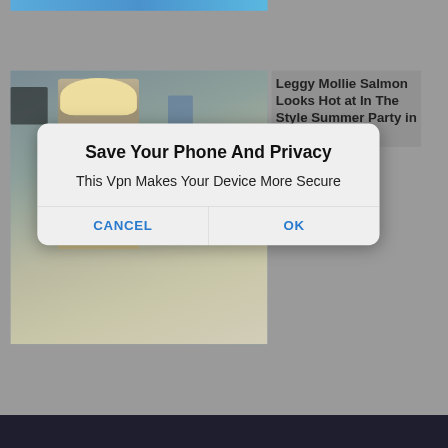[Figure (screenshot): A screenshot of a webpage showing a celebrity photo (Mollie Salmon) with a mobile VPN permission dialog overlay. The background shows a webpage with a photo of a blonde woman in a grey dress walking on a sidewalk. On the right side, text reads 'Leggy Mollie Salmon Looks Hot at In The Style Summer Party in'. A modal dialog box overlays the page with title 'Save Your Phone And Privacy', message 'This Vpn Makes Your Device More Secure', and two buttons: CANCEL and OK in blue text.]
Save Your Phone And Privacy
This Vpn Makes Your Device More Secure
Leggy Mollie Salmon Looks Hot at In The Style Summer Party in